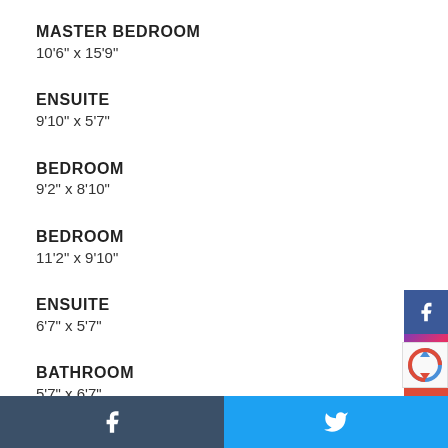MASTER BEDROOM
10'6" x 15'9"
ENSUITE
9'10" x 5'7"
BEDROOM
9'2" x 8'10"
BEDROOM
11'2" x 9'10"
ENSUITE
6'7" x 5'7"
BATHROOM
5'7" x 6'7"
BEDROOM
Facebook share | Twitter share